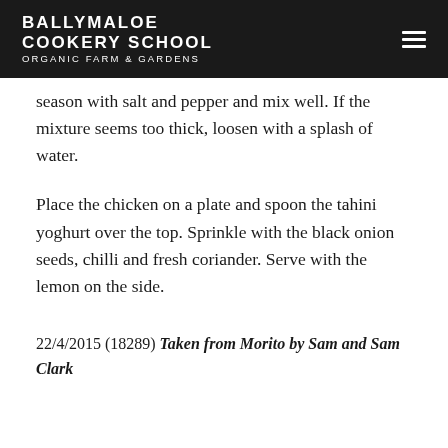BALLYMALOE COOKERY SCHOOL ORGANIC FARM & GARDENS
season with salt and pepper and mix well. If the mixture seems too thick, loosen with a splash of water.
Place the chicken on a plate and spoon the tahini yoghurt over the top. Sprinkle with the black onion seeds, chilli and fresh coriander. Serve with the lemon on the side.
22/4/2015 (18289) Taken from Morito by Sam and Sam Clark